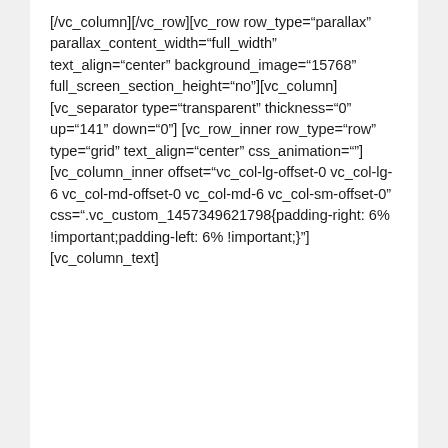[/vc_column][/vc_row][vc_row row_type="parallax" parallax_content_width="full_width" text_align="center" background_image="15768" full_screen_section_height="no"][vc_column][vc_separator type="transparent" thickness="0" up="141" down="0"][vc_row_inner row_type="row" type="grid" text_align="center" css_animation=""][vc_column_inner offset="vc_col-lg-offset-0 vc_col-lg-6 vc_col-md-offset-0 vc_col-md-6 vc_col-sm-offset-0" css=".vc_custom_1457349621798{padding-right: 6% !important;padding-left: 6% !important;}"][vc_column_text]